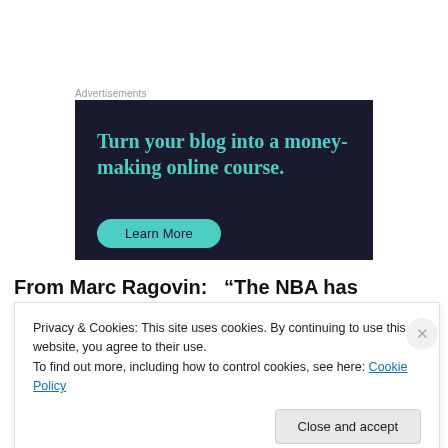Advertisements
[Figure (illustration): Dark navy advertisement banner with teal text reading 'Turn your blog into a money-making online course.' and a teal 'Learn More' button]
From Marc Ragovin:   "The NBA has suspended Memphis
Privacy & Cookies: This site uses cookies. By continuing to use this website, you agree to their use.
To find out more, including how to control cookies, see here: Cookie Policy
Close and accept